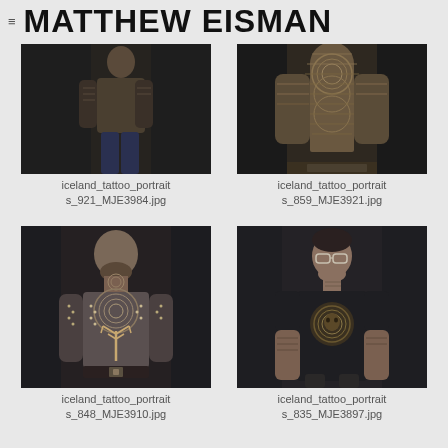MATTHEW EISMAN
[Figure (photo): Tattooed person standing, arms at sides, dark background]
iceland_tattoo_portraits_921_MJE3984.jpg
[Figure (photo): Person with full body geometric tattoos, torso visible, dark background]
iceland_tattoo_portraits_859_MJE3921.jpg
[Figure (photo): Heavily tattooed man, trident design on chest, dark background]
iceland_tattoo_portraits_848_MJE3910.jpg
[Figure (photo): Person wearing black t-shirt with tattoos on arms, glasses, dark background]
iceland_tattoo_portraits_835_MJE3897.jpg